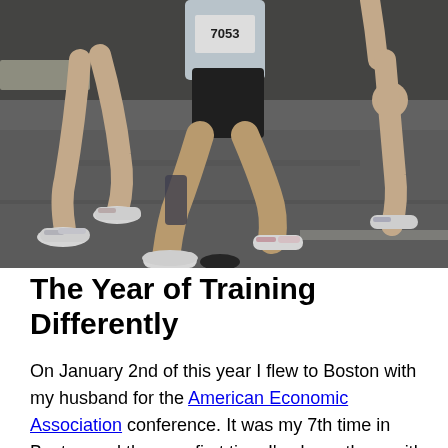[Figure (photo): Photograph of marathon runners mid-race on a wet asphalt road, showing legs and running shoes of multiple athletes. The central runner wears a race bib numbered 7053 or similar, black shorts, and white/pink running shoes.]
The Year of Training Differently
On January 2nd of this year I flew to Boston with my husband for the American Economic Association conference. It was my 7th time in Boston and the very first time I've been there with no marathon to run.